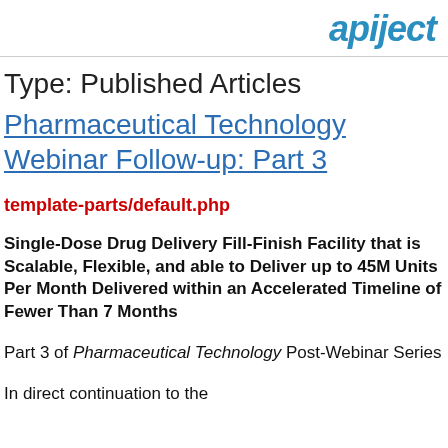apiject
Type: Published Articles
Pharmaceutical Technology Webinar Follow-up: Part 3
template-parts/default.php
Single-Dose Drug Delivery Fill-Finish Facility that is Scalable, Flexible, and able to Deliver up to 45M Units Per Month Delivered within an Accelerated Timeline of Fewer Than 7 Months
Part 3 of Pharmaceutical Technology Post-Webinar Series
In direct continuation to the...